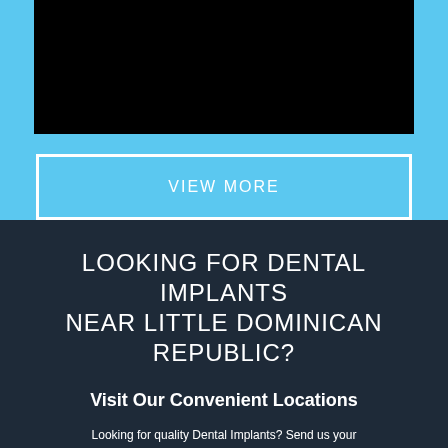[Figure (other): Black video player placeholder rectangle on sky blue background]
VIEW MORE
LOOKING FOR DENTAL IMPLANTS NEAR LITTLE DOMINICAN REPUBLIC?
Visit Our Convenient Locations
Looking for quality Dental Implants? Send us your